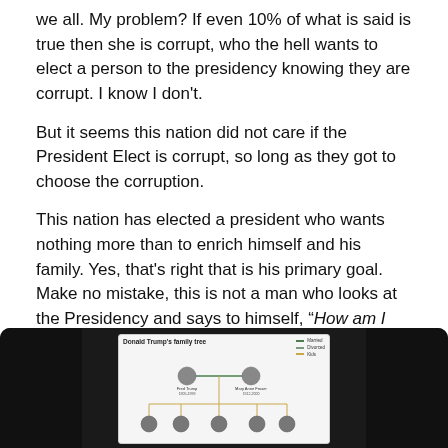we all. My problem? If even 10% of what is said is true then she is corrupt, who the hell wants to elect a person to the presidency knowing they are corrupt. I know I don't.
But it seems this nation did not care if the President Elect is corrupt, so long as they got to choose the corruption.
This nation has elected a president who wants nothing more than to enrich himself and his family. Yes, that's right that is his primary goal. Make no mistake, this is not a man who looks at the Presidency and says to himself, "How am I going to do right by the 325 million people in the United States over the next four years."
[Figure (infographic): Donald Trump's family tree infographic shown on a dark/black background, partially visible with a family tree diagram showing connected nodes with photos.]